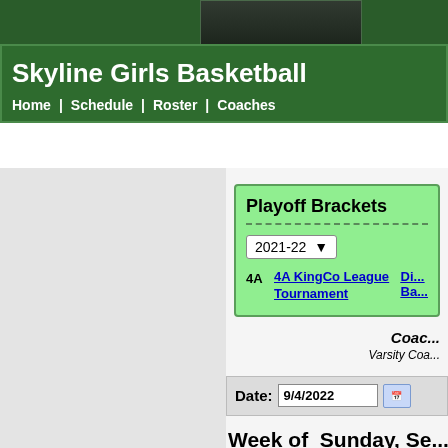Skyline Girls Basketball
Home | Schedule | Roster | Coaches
Playoff Brackets
2021-22
4A  4A KingCo League Tournament
Coaches
Varsity Coa...
Date: 9/4/2022
Week of  Sunday, Se...
There are no events during the selec...